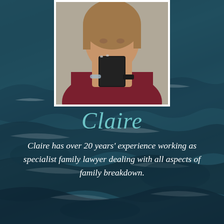[Figure (photo): Portrait photo of a woman named Claire holding a dark mug, wearing a dark red/maroon top, silver necklace, bracelets, and a black smartwatch. She has light brown hair and is photographed against a neutral background.]
Claire
Claire has over 20 years' experience working as specialist family lawyer dealing with all aspects of family breakdown.